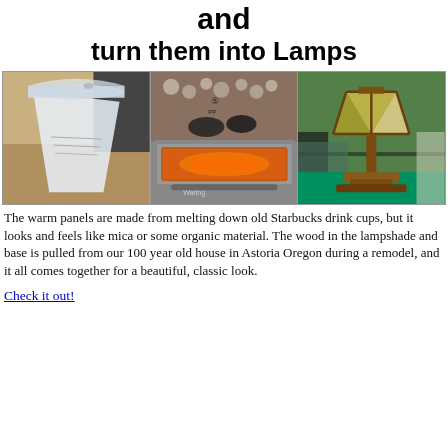and turn them into Lamps
[Figure (photo): Three photos side by side: (1) a clear plastic Starbucks drink cup on a wooden surface, (2) hands placing plastic into a toaster oven with orange glow, (3) a finished stained-glass style lamp with wood base on an outdoor patio]
The warm panels are made from melting down old Starbucks drink cups, but it looks and feels like mica or some organic material. The wood in the lampshade and base is pulled from our 100 year old house in Astoria Oregon during a remodel, and it all comes together for a beautiful, classic look.
Check it out!